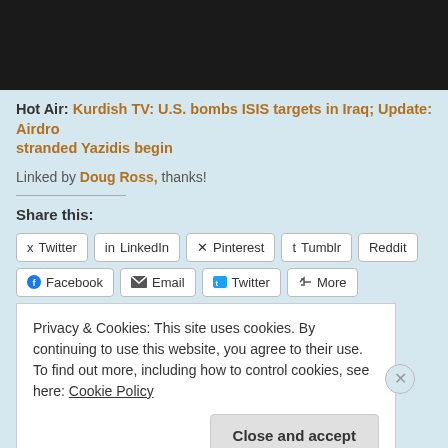[Figure (photo): Dark/black banner image at the top of the page]
Hot Air: Kurdish TV: U.S. bombs ISIS targets in Iraq; Update: Airdrop stranded Yazidis begin
Linked by Doug Ross, thanks!
Share this:
Twitter LinkedIn Pinterest Tumblr Reddit Facebook Email Twitter More
Privacy & Cookies: This site uses cookies. By continuing to use this website, you agree to their use.
To find out more, including how to control cookies, see here: Cookie Policy
Close and accept